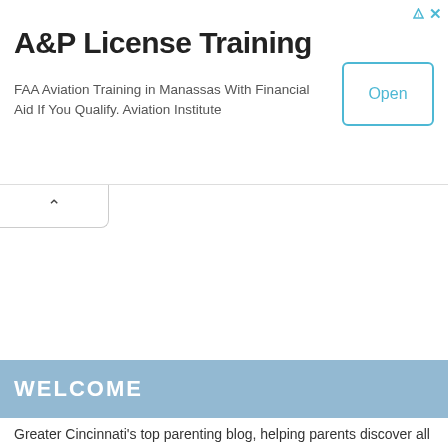A&P License Training
FAA Aviation Training in Manassas With Financial Aid If You Qualify. Aviation Institute
[Figure (other): Open button for advertisement]
[Figure (other): Collapse/hide tab with upward chevron arrow]
WELCOME
Greater Cincinnati's top parenting blog, helping parents discover all the things that make Cincinnati and northern Kentucky a great place to raise a family since 2009.